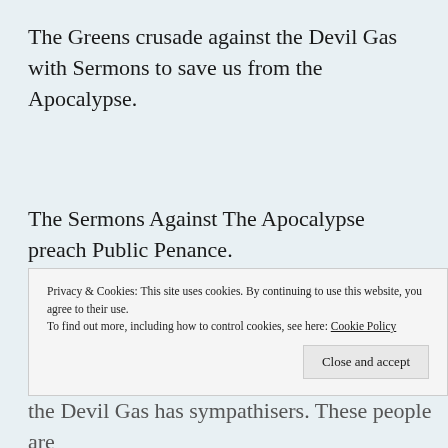The Greens crusade against the Devil Gas with Sermons to save us from the Apocalypse.
The Sermons Against The Apocalypse preach Public Penance.
People can perform their Penance by doing more boring things and doing less things that are interesting,
Privacy & Cookies: This site uses cookies. By continuing to use this website, you agree to their use.
To find out more, including how to control cookies, see here: Cookie Policy
Close and accept
the Devil Gas has sympathisers. These people are